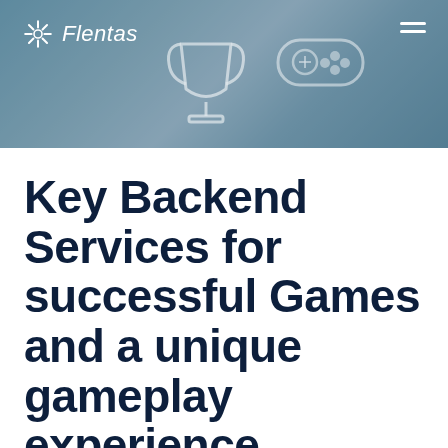[Figure (photo): Hero banner image with gaming theme — trophy and game controller icons overlaid on a blurred background, with Flentas logo and hamburger menu in the header]
Key Backend Services for successful Games and a unique gameplay experience